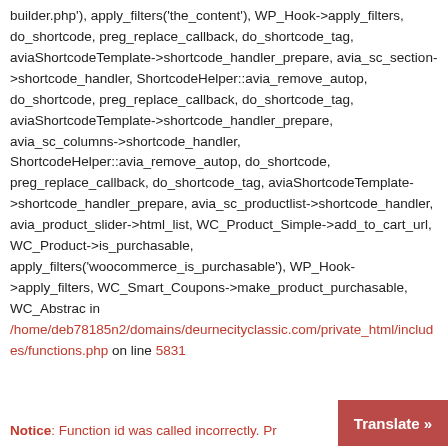builder.php'), apply_filters('the_content'), WP_Hook->apply_filters, do_shortcode, preg_replace_callback, do_shortcode_tag, aviaShortcodeTemplate->shortcode_handler_prepare, avia_sc_section->shortcode_handler, ShortcodeHelper::avia_remove_autop, do_shortcode, preg_replace_callback, do_shortcode_tag, aviaShortcodeTemplate->shortcode_handler_prepare, avia_sc_columns->shortcode_handler, ShortcodeHelper::avia_remove_autop, do_shortcode, preg_replace_callback, do_shortcode_tag, aviaShortcodeTemplate->shortcode_handler_prepare, avia_sc_productlist->shortcode_handler, avia_product_slider->html_list, WC_Product_Simple->add_to_cart_url, WC_Product->is_purchasable, apply_filters('woocommerce_is_purchasable'), WP_Hook->apply_filters, WC_Smart_Coupons->make_product_purchasable, WC_Abstrac in /home/deb78185n2/domains/deurnecityclassic.com/private_html/includes/functions.php on line 5831
Notice: Function id was called incorrectly. Pr